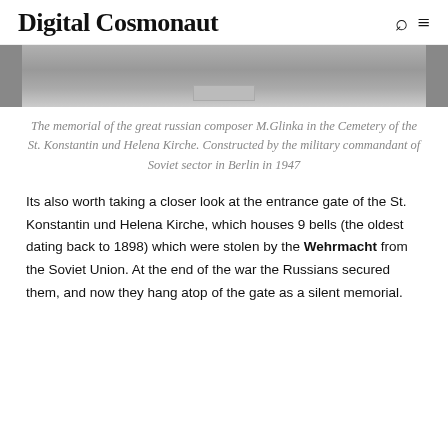Digital Cosmonaut
[Figure (photo): Bottom portion of a black-and-white photograph showing stone paving and a flat memorial slab or plaque, taken at a cemetery.]
The memorial of the great russian composer M.Glinka in the Cemetery of the St. Konstantin und Helena Kirche. Constructed by the military commandant of Soviet sector in Berlin in 1947
Its also worth taking a closer look at the entrance gate of the St. Konstantin und Helena Kirche, which houses 9 bells (the oldest dating back to 1898) which were stolen by the Wehrmacht from the Soviet Union. At the end of the war the Russians secured them, and now they hang atop of the gate as a silent memorial.